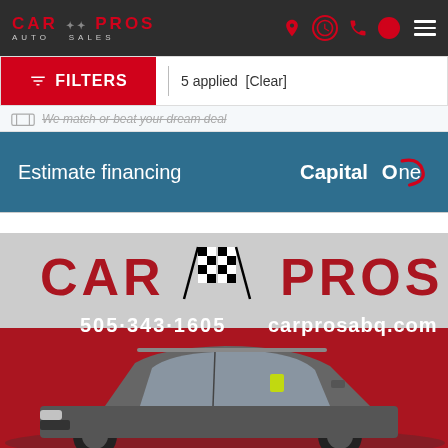CAR PROS AUTO SALES - navigation header
FILTERS | 5 applied [Clear]
[Figure (screenshot): Partially visible filter/search banner row]
[Figure (screenshot): Estimate financing bar with Capital One logo]
[Figure (photo): Car Pros Auto Sales lot photo showing a gray SUV parked in front of a building with Car Pros signage showing 505-343-1605 and carprosabq.com]